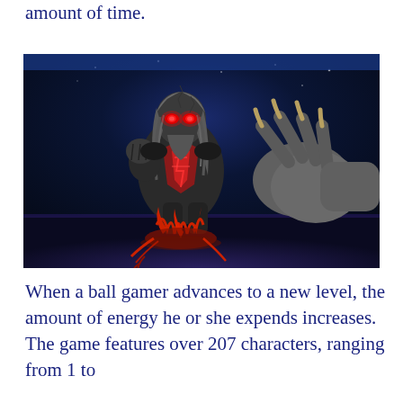amount of time.
[Figure (photo): A video game character — a dark villain with glowing red eyes, gray long hair, wearing black armor with red markings, crouching with a large clawed gray hand reaching toward the viewer, set against a dark blue/purple background.]
When a ball gamer advances to a new level, the amount of energy he or she expends increases. The game features over 207 characters, ranging from 1 to